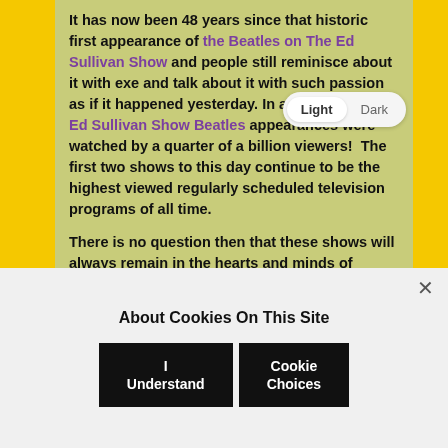It has now been 48 years since that historic first appearance of the Beatles on The Ed Sullivan Show and people still reminisce about it with excitement and talk about it with such passion as if it happened yesterday. In aggregate, the 4 Ed Sullivan Show Beatles appearances were watched by a quarter of a billion viewers! The first two shows to this day continue to be the highest viewed regularly scheduled television programs of all time.

There is no question then that these shows will always remain in the hearts and minds of anyone who saw them. The Beatles performances on Ed Sullivan will go down as a turning point, which not
About Cookies On This Site
I Understand | Cookie Choices